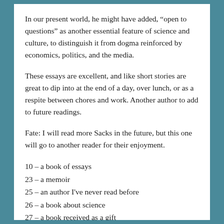In our present world, he might have added, “open to questions” as another essential feature of science and culture, to distinguish it from dogma reinforced by economics, politics, and the media.
These essays are excellent, and like short stories are great to dip into at the end of a day, over lunch, or as a respite between chores and work. Another author to add to future readings.
Fate: I will read more Sacks in the future, but this one will go to another reader for their enjoyment.
10 – a book of essays
23 – a memoir
25 – an author I've never read before
26 – a book about science
27 – a book received as a gift
SHARE THIS: